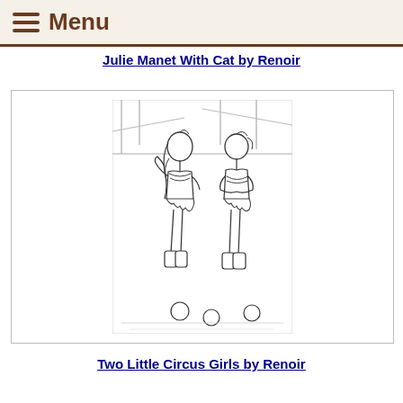Menu
Julie Manet With Cat by Renoir
[Figure (illustration): Line drawing illustration of two young circus girls in ruffled costumes and boots standing together, with balls on the ground around them. The girl on the left faces right and appears to be gesturing, while the girl on the right stands with arms crossed. Background shows wooden beams or fencing.]
Two Little Circus Girls by Renoir